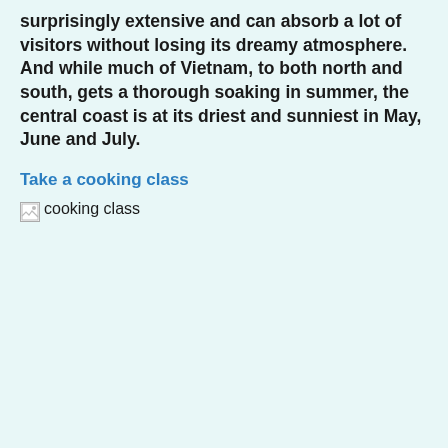surprisingly extensive and can absorb a lot of visitors without losing its dreamy atmosphere. And while much of Vietnam, to both north and south, gets a thorough soaking in summer, the central coast is at its driest and sunniest in May, June and July.
Take a cooking class
[Figure (photo): Broken image placeholder labeled 'cooking class']